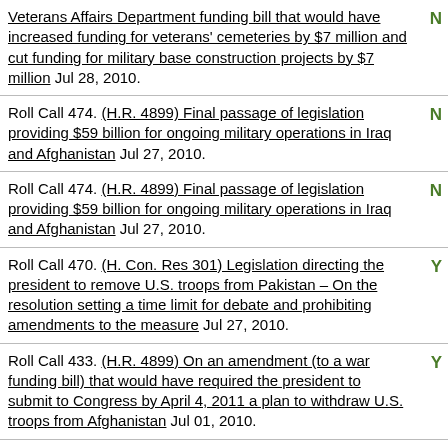Veterans Affairs Department funding bill that would have increased funding for veterans' cemeteries by $7 million and cut funding for military base construction projects by $7 million Jul 28, 2010. N
Roll Call 474. (H.R. 4899) Final passage of legislation providing $59 billion for ongoing military operations in Iraq and Afghanistan Jul 27, 2010. N
Roll Call 474. (H.R. 4899) Final passage of legislation providing $59 billion for ongoing military operations in Iraq and Afghanistan Jul 27, 2010. N
Roll Call 470. (H. Con. Res 301) Legislation directing the president to remove U.S. troops from Pakistan – On the resolution setting a time limit for debate and prohibiting amendments to the measure Jul 27, 2010. Y
Roll Call 433. (H.R. 4899) On an amendment (to a war funding bill) that would have required the president to submit to Congress by April 4, 2011 a plan to withdraw U.S. troops from Afghanistan Jul 01, 2010. Y
Roll Call 432. (H.R. 4899) On an amendment that would have required the president to set Afghanistan...